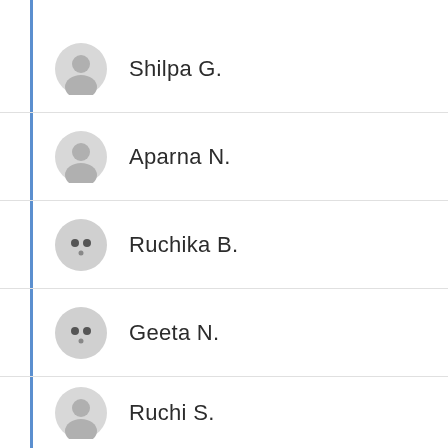Shilpa G.
Aparna N.
Ruchika B.
Geeta N.
Ruchi S.